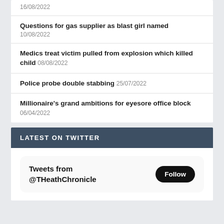16/08/2022
Questions for gas supplier as blast girl named 10/08/2022
Medics treat victim pulled from explosion which killed child 08/08/2022
Police probe double stabbing 25/07/2022
Millionaire's grand ambitions for eyesore office block 06/04/2022
LATEST ON TWITTER
Tweets from @THeathChronicle